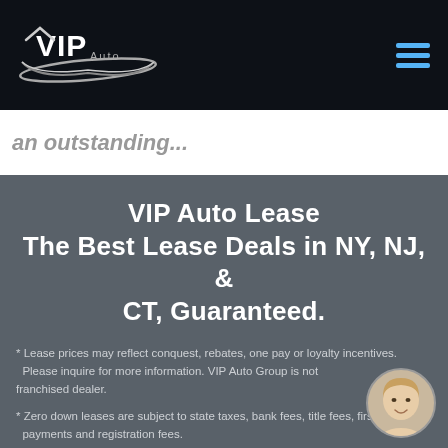[Figure (logo): VIP Auto logo — silver and black stylized text with checkmark wing, on dark navy background]
an outstanding...
VIP Auto Lease
The Best Lease Deals in NY, NJ, &
CT, Guaranteed.
* Lease prices may reflect conquest, rebates, one pay or loyalty incentives.
  Please inquire for more information. VIP Auto Group is not franchised dealer.
* Zero down leases are subject to state taxes, bank fees, title fees, first month
  payments and registration fees.